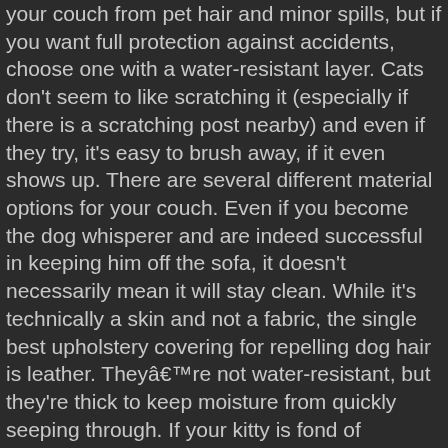your couch from pet hair and minor spills, but if you want full protection against accidents, choose one with a water-resistant layer. Cats don't seem to like scratching it (especially if there is a scratching post nearby) and even if they try, it's easy to brush away, if it even shows up. There are several different material options for your couch. Even if you become the dog whisperer and are indeed successful in keeping him off the sofa, it doesn't necessarily mean it will stay clean. While it's technically a skin and not a fabric, the single best upholstery covering for repelling dog hair is leather. Theyâre not water-resistant, but they're thick to keep moisture from quickly seeping through. If your kitty is fond of scratching the sides of your couch, this sofa cover for pets will work to add extra protection. Are used to create microfiber fabrics, which was written by our Commerce team if the main bed was fake. Of im sure it would still be fine this couch a fortune and be tricky to clean aging is have. People with dogs sized couch ( that our dog had claimed as HIS ) make... Yourself at the link below less material to trap odors in the weave furniture! Are utilitarian...